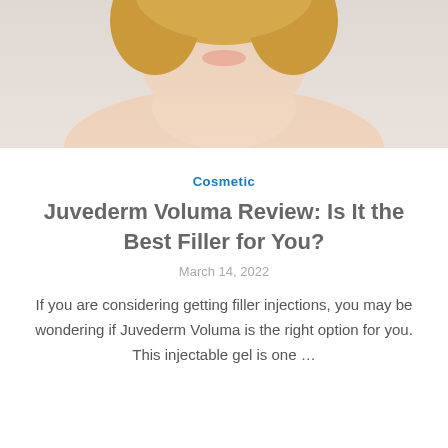[Figure (photo): Close-up of a blonde woman's face and neck/shoulders against a light gray background, cropped at the top of the image showing mainly the lower face, neck, and bare shoulders.]
Cosmetic
Juvederm Voluma Review: Is It the Best Filler for You?
March 14, 2022
If you are considering getting filler injections, you may be wondering if Juvederm Voluma is the right option for you. This injectable gel is one …